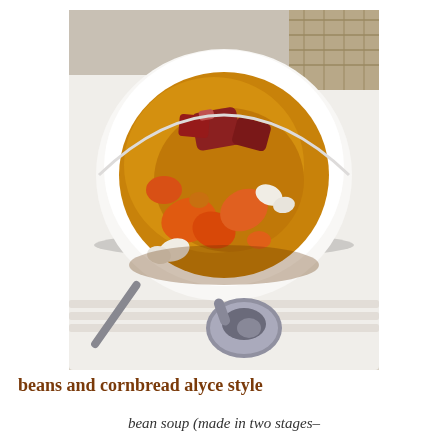[Figure (photo): Overhead view of a white bowl of bean soup with carrots, white beans, ham/meat pieces in a golden broth, with a silver spoon resting on a white plate beside it.]
beans and cornbread alyce style
bean soup  (made in two stages–